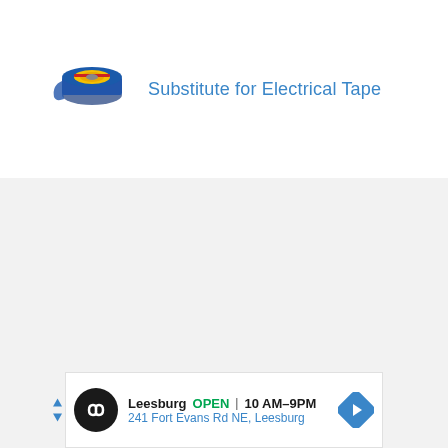[Figure (photo): Roll of blue and yellow electrical tape product image]
Substitute for Electrical Tape
[Figure (infographic): Advertisement banner: Leesburg OPEN 10AM-9PM, 241 Fort Evans Rd NE, Leesburg with navigation arrows and store logo]